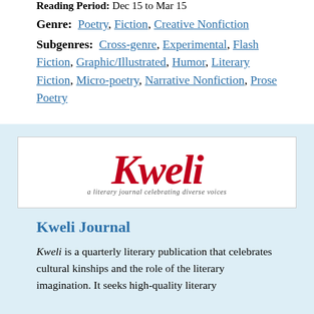Reading Period: Dec 15 to Mar 15
Genre: Poetry, Fiction, Creative Nonfiction
Subgenres: Cross-genre, Experimental, Flash Fiction, Graphic/Illustrated, Humor, Literary Fiction, Micro-poetry, Narrative Nonfiction, Prose Poetry
[Figure (logo): Kweli Journal logo in red italic script with tagline 'a literary journal celebrating diverse voices']
Kweli Journal
Kweli is a quarterly literary publication that celebrates cultural kinships and the role of the literary imagination. It seeks high-quality literary